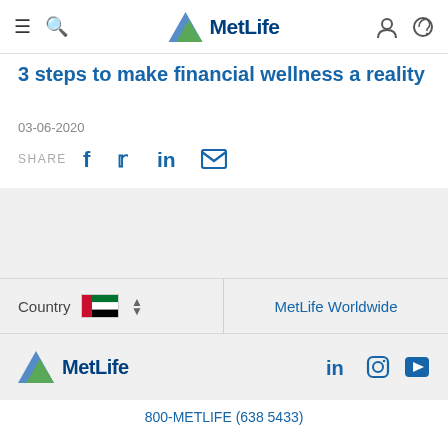MetLife
3 steps to make financial wellness a reality
03-06-2020
SHARE
[Figure (screenshot): Grey content band placeholder area]
Country  MetLife Worldwide
[Figure (logo): MetLife logo in footer with LinkedIn, Instagram, YouTube social icons]
800-METLIFE (638 5433)